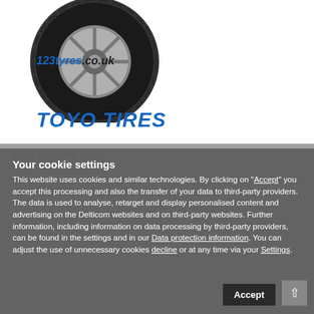[Figure (photo): Toyo tire/wheel product image with 123tyres.co.uk logo watermark and TOYO TIRES brand logo below]
Toyo Observe 9944
£ 69.29
Your cookie settings
This website uses cookies and similar technologies. By clicking on "Accept" you accept this processing and also the transfer of your data to third-party providers. The data is used to analyse, retarget and display personalised content and advertising on the Delticom websites and on third-party websites. Further information, including information on data processing by third-party providers, can be found in the settings and in our Data protection information. You can adjust the use of unnecessary cookies decline or at any time via your Settings.
Accept